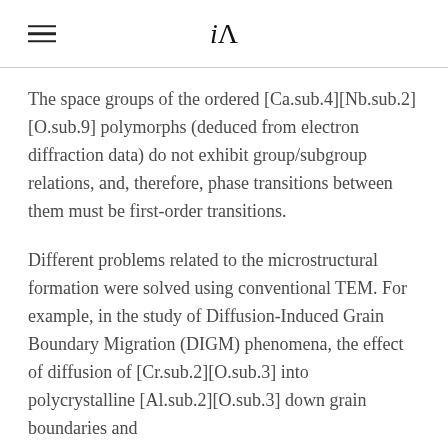iA
The space groups of the ordered [Ca.sub.4][Nb.sub.2][O.sub.9] polymorphs (deduced from electron diffraction data) do not exhibit group/subgroup relations, and, therefore, phase transitions between them must be first-order transitions.
Different problems related to the microstructural formation were solved using conventional TEM. For example, in the study of Diffusion-Induced Grain Boundary Migration (DIGM) phenomena, the effect of diffusion of [Cr.sub.2][O.sub.3] into polycrystalline [Al.sub.2][O.sub.3] down grain boundaries and